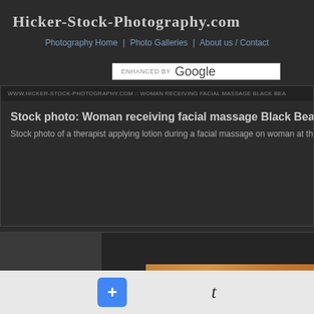Hicker-Stock-Photography.com
Photography Home | Photo Galleries | About us / Contact
[Figure (screenshot): Google Enhanced By search bar widget]
WWW.HICKER-STOCK-PHOTOGRAPHY.COM :: WOMAN RECEIVING FACIAL MASSAGE BLACK BEA
Stock photo: Woman receiving facial massage Black Bear Reso
Stock photo of a therapist applying lotion during a facial massage on woman at th
[Figure (photo): Partial view of photo area showing a warm-toned image of what appears to be a massage or spa scene]
[Figure (screenshot): Bottom browser toolbar with blue plus button and italic t letter]